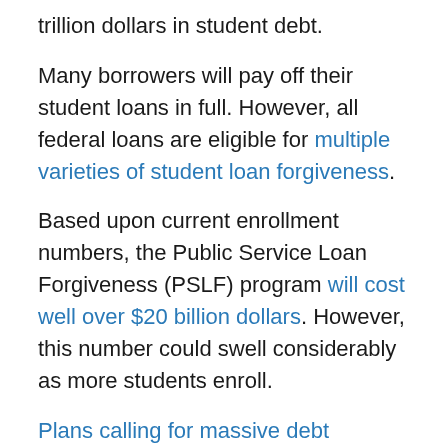trillion dollars in student debt.
Many borrowers will pay off their student loans in full. However, all federal loans are eligible for multiple varieties of student loan forgiveness.
Based upon current enrollment numbers, the Public Service Loan Forgiveness (PSLF) program will cost well over $20 billion dollars. However, this number could swell considerably as more students enroll.
Plans calling for massive debt cancellation may be unlikely to become a reality, but they would cost over a trillion dollars.
While forgiveness programs might produce